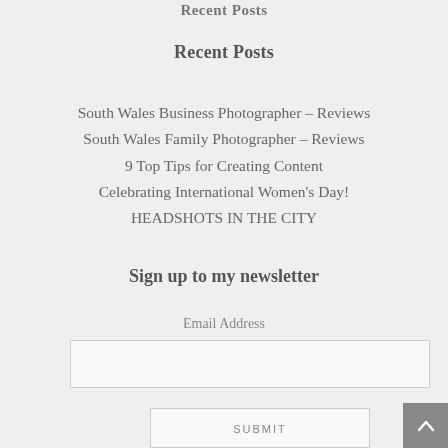Recent Posts
Recent Posts
South Wales Business Photographer – Reviews
South Wales Family Photographer – Reviews
9 Top Tips for Creating Content
Celebrating International Women's Day!
HEADSHOTS IN THE CITY
Sign up to my newsletter
Email Address
SUBMIT